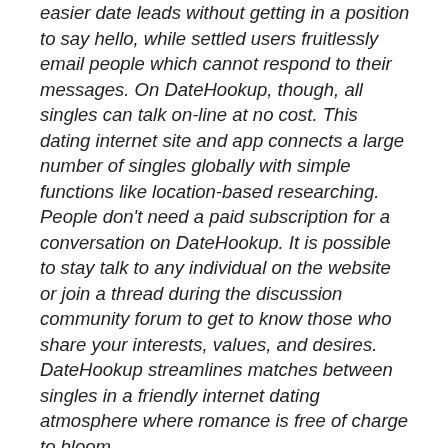easier date leads without getting in a position to say hello, while settled users fruitlessly email people which cannot respond to their messages. On DateHookup, though, all singles can talk on-line at no cost. This dating internet site and app connects a large number of singles globally with simple functions like location-based researching. People don't need a paid subscription for a conversation on DateHookup. It is possible to stay talk to any individual on the website or join a thread during the discussion community forum to get to know those who share your interests, values, and desires. DateHookup streamlines matches between singles in a friendly internet dating atmosphere where romance is free of charge to bloom.
Share
Countryromeo84 had been one father trying to find really love when he joined up with DateHookup in March 2013. The guy stayed in a little city in Tennessee, and he'd